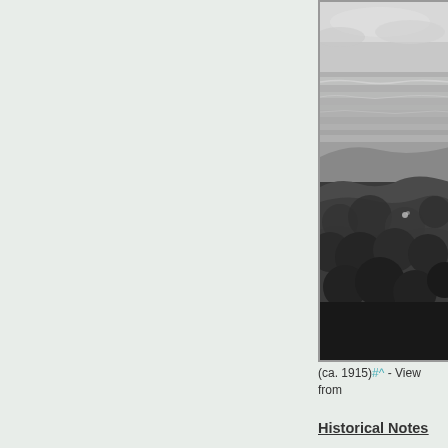[Figure (photo): Black and white historical photograph (ca. 1915) showing a coastal landscape view with ocean waves and vegetation/bushes in the foreground, sky with clouds visible at top.]
(ca. 1915)#^ - View from
Historical Notes